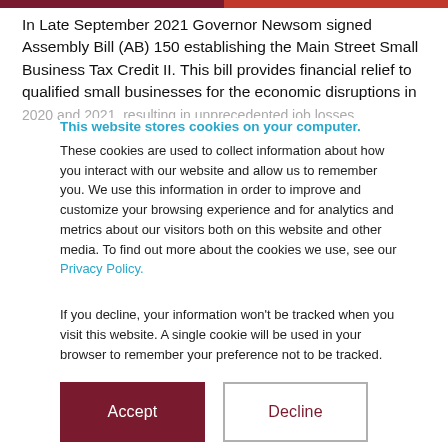In Late September 2021 Governor Newsom signed Assembly Bill (AB) 150 establishing the Main Street Small Business Tax Credit II. This bill provides financial relief to qualified small businesses for the economic disruptions in 2020 and 2021, resulting in unprecedented job losses...
This website stores cookies on your computer. These cookies are used to collect information about how you interact with our website and allow us to remember you. We use this information in order to improve and customize your browsing experience and for analytics and metrics about our visitors both on this website and other media. To find out more about the cookies we use, see our Privacy Policy.
If you decline, your information won’t be tracked when you visit this website. A single cookie will be used in your browser to remember your preference not to be tracked.